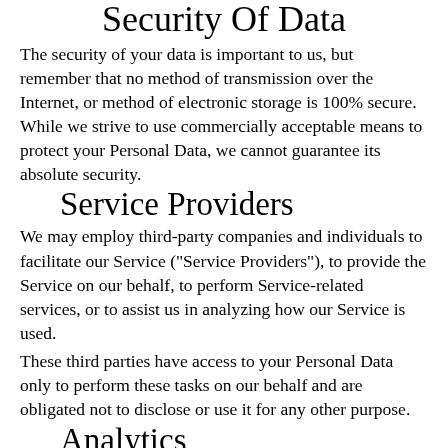Security Of Data
The security of your data is important to us, but remember that no method of transmission over the Internet, or method of electronic storage is 100% secure. While we strive to use commercially acceptable means to protect your Personal Data, we cannot guarantee its absolute security.
Service Providers
We may employ third-party companies and individuals to facilitate our Service ("Service Providers"), to provide the Service on our behalf, to perform Service-related services, or to assist us in analyzing how our Service is used.
These third parties have access to your Personal Data only to perform these tasks on our behalf and are obligated not to disclose or use it for any other purpose.
Analytics
We may use third-party Service Providers to monitor and analyze the use of our Service.